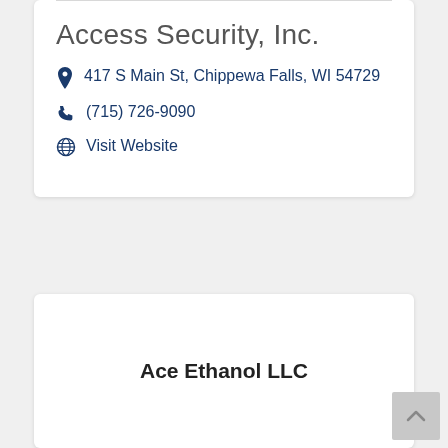Access Security, Inc.
417 S Main St, Chippewa Falls, WI 54729
(715) 726-9090
Visit Website
Ace Ethanol LLC